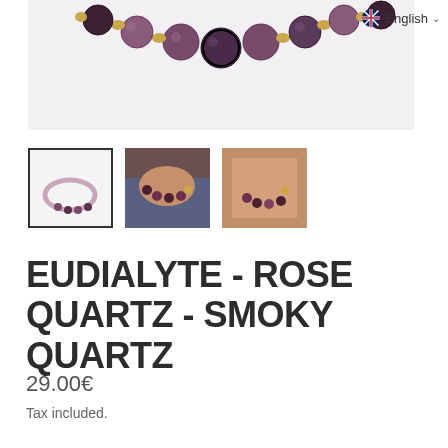[Figure (photo): Close-up of a beaded bracelet/necklace with purple/dark beads and gold spacers on a light background]
English
[Figure (photo): Three thumbnail images of bracelets: first shows bracelet laying flat (selected, with border), second shows bracelet on wrist wearing jeans, third shows bracelet on wrist]
EUDIALYTE - ROSE QUARTZ - SMOKY QUARTZ
29.00€
Tax included.